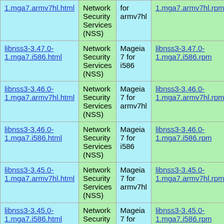| Package | Description | Platform | RPM |
| --- | --- | --- | --- |
| 1.mga7.armv7hl.html | Network Security Services (NSS) | for armv7hl | 1.mga7.armv7hl.rpm |
| libnss3-3.47.0-1.mga7.i586.html | Network Security Services (NSS) | Mageia 7 for i586 | libnss3-3.47.0-1.mga7.i586.rpm |
| libnss3-3.46.0-1.mga7.armv7hl.html | Network Security Services (NSS) | Mageia 7 for armv7hl | libnss3-3.46.0-1.mga7.armv7hl.rpm |
| libnss3-3.46.0-1.mga7.i586.html | Network Security Services (NSS) | Mageia 7 for i586 | libnss3-3.46.0-1.mga7.i586.rpm |
| libnss3-3.45.0-1.mga7.armv7hl.html | Network Security Services (NSS) | Mageia 7 for armv7hl | libnss3-3.45.0-1.mga7.armv7hl.rpm |
| libnss3-3.45.0-1.mga7.i586.html | Network Security Services (NSS) | Mageia 7 for i586 | libnss3-3.45.0-1.mga7.i586.rpm |
| libnss3-3.44.0- | Network Security | Mageia 7 | libnss3-3.44.0- |